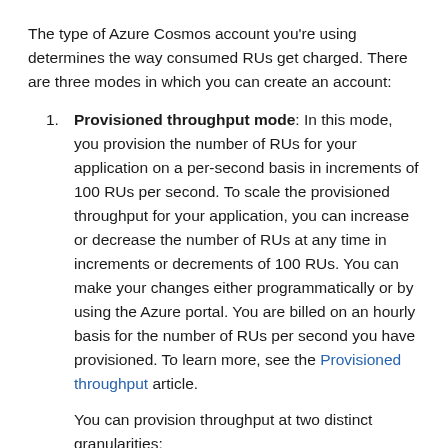The type of Azure Cosmos account you're using determines the way consumed RUs get charged. There are three modes in which you can create an account:
Provisioned throughput mode: In this mode, you provision the number of RUs for your application on a per-second basis in increments of 100 RUs per second. To scale the provisioned throughput for your application, you can increase or decrease the number of RUs at any time in increments or decrements of 100 RUs. You can make your changes either programmatically or by using the Azure portal. You are billed on an hourly basis for the number of RUs per second you have provisioned. To learn more, see the Provisioned throughput article.

You can provision throughput at two distinct granularities: